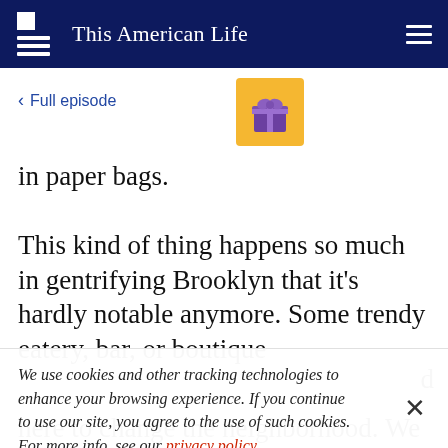This American Life
< Full episode
in paper bags.
This kind of thing happens so much in gentrifying Brooklyn that it's hardly notable anymore. Some trendy eatery, bar, or boutique
We use cookies and other tracking technologies to enhance your browsing experience. If you continue to use our site, you agree to the use of such cookies. For more info, see our privacy policy.
here to change the neighborhood. We just want to